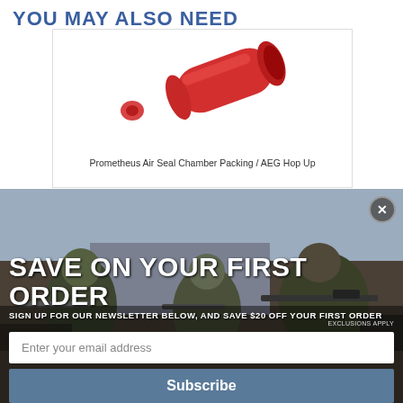YOU MAY ALSO NEED
[Figure (photo): Red Prometheus Air Seal Chamber Packing / AEG Hop Up rubber parts on white background]
Prometheus Air Seal Chamber Packing / AEG Hop Up
[Figure (photo): Modal popup over soldiers in military gear aiming rifles]
SAVE ON YOUR FIRST ORDER
SIGN UP FOR OUR NEWSLETTER BELOW, AND SAVE $20 OFF YOUR FIRST ORDER
EXCLUSIONS APPLY
Enter your email address
Subscribe